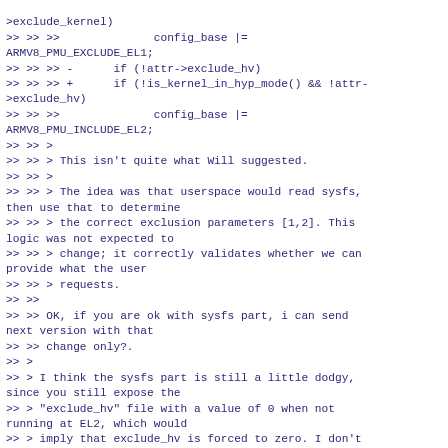>exclude_kernel)
>> >> >>              config_base |= ARMV8_PMU_EXCLUDE_EL1;
>> >> >> -      if (!attr->exclude_hv)
>> >> >> +      if (!is_kernel_in_hyp_mode() && !attr->exclude_hv)
>> >> >>              config_base |= ARMV8_PMU_INCLUDE_EL2;
>> >> >
>> >> > This isn't quite what Will suggested.
>> >> >
>> >> > The idea was that userspace would read sysfs, then use that to determine
>> >> > the correct exclusion parameters [1,2]. This logic was not expected to
>> >> > change; it correctly validates whether we can provide what the user
>> >> > requests.
>> >>
>> >> OK, if you are ok with sysfs part, i can send next version with that
>> >> change only?.
>> >
>> > I think the sysfs part is still a little dodgy, since you still expose the
>> > "exclude_hv" file with a value of 0 when not running at EL2, which would
>> > imply that exclude_hv is forced to zero. I don't think that's correct.
>>